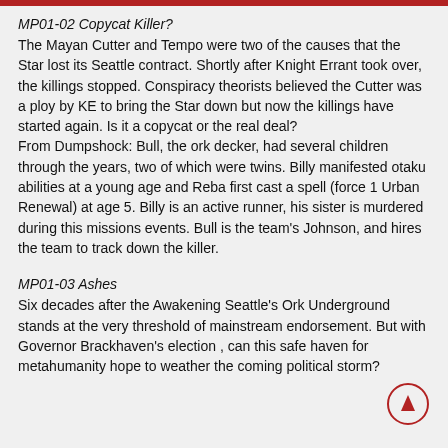MP01-02 Copycat Killer?
The Mayan Cutter and Tempo were two of the causes that the Star lost its Seattle contract. Shortly after Knight Errant took over, the killings stopped. Conspiracy theorists believed the Cutter was a ploy by KE to bring the Star down but now the killings have started again. Is it a copycat or the real deal?
From Dumpshock: Bull, the ork decker, had several children through the years, two of which were twins. Billy manifested otaku abilities at a young age and Reba first cast a spell (force 1 Urban Renewal) at age 5. Billy is an active runner, his sister is murdered during this missions events. Bull is the team's Johnson, and hires the team to track down the killer.
MP01-03 Ashes
Six decades after the Awakening Seattle's Ork Underground stands at the very threshold of mainstream endorsement. But with Governor Brackhaven's election , can this safe haven for metahumanity hope to weather the coming political storm?